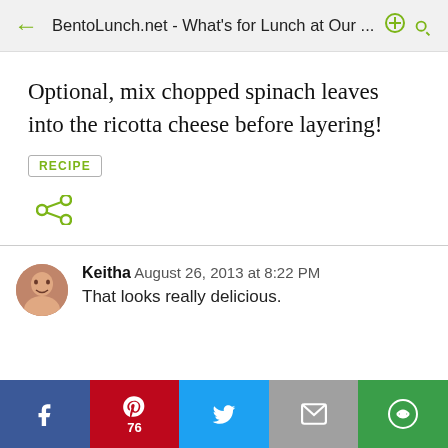BentoLunch.net - What's for Lunch at Our ...
Optional, mix chopped spinach leaves into the ricotta cheese before layering!
RECIPE
[Figure (other): Share icon (connected dots / network share symbol)]
Keitha  August 26, 2013 at 8:22 PM
That looks really delicious.
[Figure (other): Bottom social share bar with Facebook, Pinterest (76), Twitter, Email, and circular share icons]